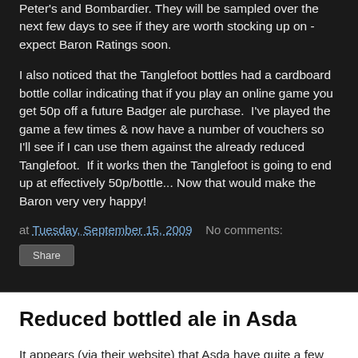Peter's and Bombardier. They will be sampled over the next few days to see if they are worth stocking up on - expect Baron Ratings soon.
I also noticed that the Tanglefoot bottles had a cardboard bottle collar indicating that if you play an online game you get 50p off a future Badger ale purchase.  I've played the game a few times & now have a number of vouchers so I'll see if I can use them against the already reduced Tanglefoot.  If it works then the Tanglefoot is going to end up at effectively 50p/bottle... Now that would make the Baron very very happy!
at Tuesday, September 15, 2009   No comments:
Share
Reduced bottled ale in Asda
It appears (via their website) that Asda have quite a few ales reduced to £1/bottle, will be checking this out in person in